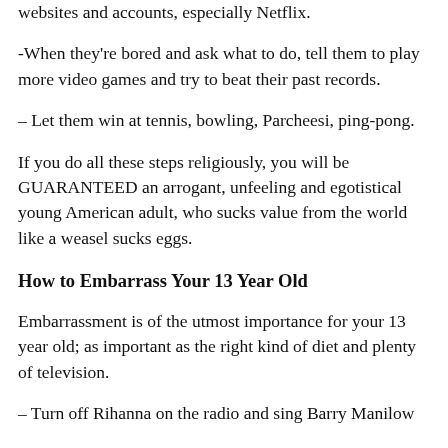websites and accounts, especially Netflix.
-When they're bored and ask what to do, tell them to play more video games and try to beat their past records.
– Let them win at tennis, bowling, Parcheesi, ping-pong.
If you do all these steps religiously, you will be GUARANTEED an arrogant, unfeeling and egotistical young American adult, who sucks value from the world like a weasel sucks eggs.
How to Embarrass Your 13 Year Old
Embarrassment is of the utmost importance for your 13 year old; as important as the right kind of diet and plenty of television.
– Turn off Rihanna on the radio and sing Barry Manilow